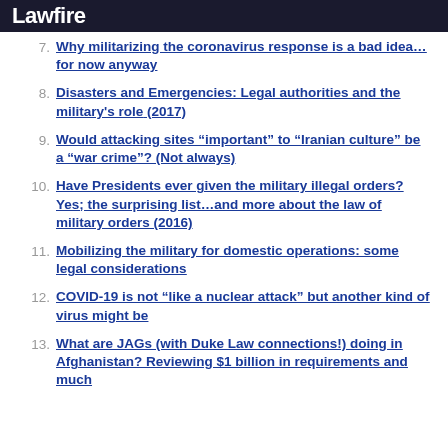Lawfire
7. Why militarizing the coronavirus response is a bad idea…for now anyway
8. Disasters and Emergencies: Legal authorities and the military's role (2017)
9. Would attacking sites “important” to “Iranian culture” be a “war crime”? (Not always)
10. Have Presidents ever given the military illegal orders? Yes; the surprising list…and more about the law of military orders (2016)
11. Mobilizing the military for domestic operations: some legal considerations
12. COVID-19 is not “like a nuclear attack” but another kind of virus might be
13. What are JAGs (with Duke Law connections!) doing in Afghanistan? Reviewing $1 billion in requirements and much